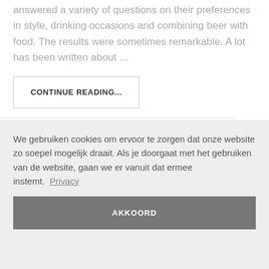answered a variety of questions on their preferences in style, drinking occasions and combining beer with food. The results were sometimes remarkable. A lot has been written about ...
CONTINUE READING...
We gebruiken cookies om ervoor te zorgen dat onze website zo soepel mogelijk draait. Als je doorgaat met het gebruiken van de website, gaan we er vanuit dat ermee instemt. Privacy
AKKOORD
Jan 2016